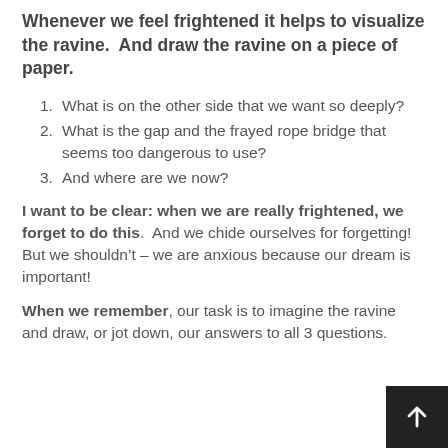Whenever we feel frightened it helps to visualize the ravine.  And draw the ravine on a piece of paper.
What is on the other side that we want so deeply?
What is the gap and the frayed rope bridge that seems too dangerous to use?
And where are we now?
I want to be clear: when we are really frightened, we forget to do this.  And we chide ourselves for forgetting!  But we shouldn’t – we are anxious because our dream is important!
When we remember, our task is to imagine the ravine and draw, or jot down, our answers to all 3 questions.